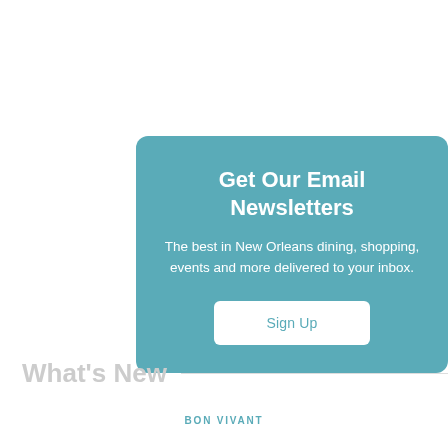Get Our Email Newsletters
The best in New Orleans dining, shopping, events and more delivered to your inbox.
Sign Up
What's New
BON VIVANT